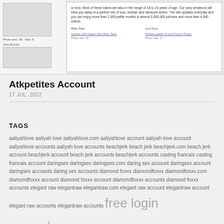[Figure (screenshot): Screenshot of adult website showing model thumbnails and description text about petite models, with Riley Starr and Lexi Foxy sections visible]
Atkpetites Account
17 JUL, 2022
TAGS
aaliyahlove aaliyah love aaliyahlove.com aaliyahlove account aaliyah love account aaliyahlove accounts aaliyah love accounts beachjerk beach jerk beachjerk.com beach jerk account beachjerk account beach jerk accounts beachjerk accounts casting francais casting francais account daringsex daringsex daringsex.com daring sex account daringsex account daringsex accounts daring sex accounts diamond foxxx diamondfoxxx diamondfoxxx.com diamondfoxxx account diamond foxxx account diamondfoxxx accounts diamond foxxx accounts elegant raw elegantraw elegantraw.com elegant raw account elegantraw account elegant raw accounts elegantraw accounts free login members pass passes password